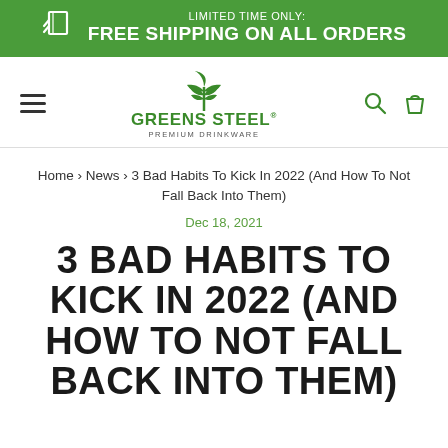LIMITED TIME ONLY: FREE SHIPPING ON ALL ORDERS
[Figure (logo): Greens Steel Premium Drinkware logo with green leaf icon]
Home › News › 3 Bad Habits To Kick In 2022 (And How To Not Fall Back Into Them)
Dec 18, 2021
3 BAD HABITS TO KICK IN 2022 (AND HOW TO NOT FALL BACK INTO THEM)